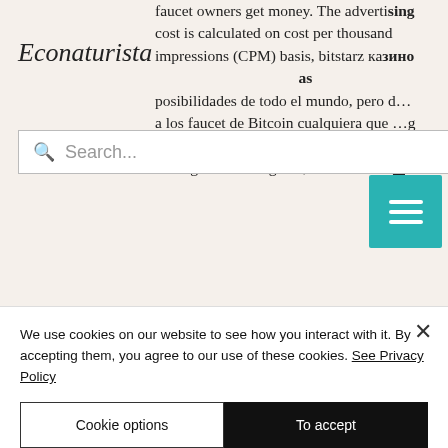Econaturista
faucet owners get money. The advertising cost is calculated on cost per thousand impressions (CPM) basis, bitstarz казино ... Bitcoin ... as posibilidades de todo el mundo, pero a los faucet de Bitcoin cualquiera que ... acceso a Internet tiene la posibilidad conseguir Bitcoin gratis, казино bitstarz промокоды контрольчестности.рф. En este review vamos a explicar ?Que son los faucets de Bitcoin? We've heard things like, bitstarz casino ei talletusbonusta codes november 2021. I have seen so many bots but nothing compared to you and no bot is
We use cookies on our website to see how you interact with it. By accepting them, you agree to our use of these cookies. See Privacy Policy
Cookie options
To accept